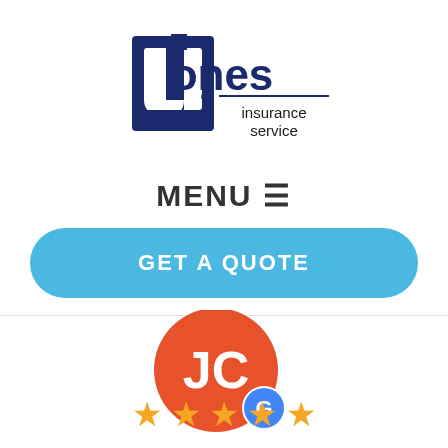[Figure (logo): Jones Insurance Service logo — navy blue stylized J letter mark with 'jones' in large text and 'insurance service' below, with an underline]
MENU ≡
GET A QUOTE
[Figure (logo): Google review badge — orange/red circle with white letters JC and a smaller white circle with Google G logo]
[Figure (other): Five gold star rating icons]